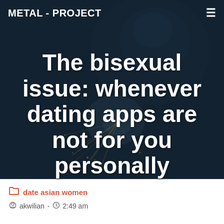METAL - PROJECT
[Figure (photo): Dark background photo of a welder working with bright sparks flying, tinted dark blue-grey]
The bisexual issue: whenever dating apps are not for you personally
date asian women
akwilian  -  2:49 am